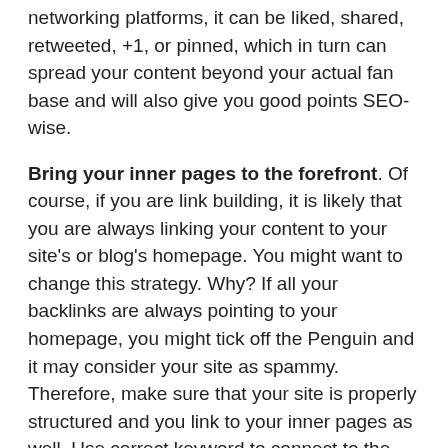networking platforms, it can be liked, shared, retweeted, +1, or pinned, which in turn can spread your content beyond your actual fan base and will also give you good points SEO-wise.
Bring your inner pages to the forefront. Of course, if you are link building, it is likely that you are always linking your content to your site's or blog's homepage. You might want to change this strategy. Why? If all your backlinks are always pointing to your homepage, you might tick off the Penguin and it may consider your site as spammy. Therefore, make sure that your site is properly structured and you link to your inner pages as well. Use correct keyword to connect to the right internal pages. This will allow both the users and Google to crawl to your site.
Drop the exact match anchor text. Gone are the days of exact match anchor texts. With the Penguin patiently